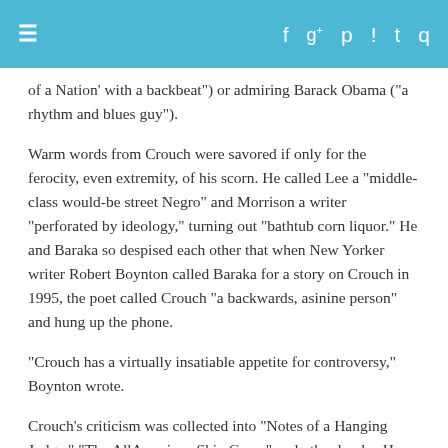≡  f  g+  p  RSS  twitter  search
of a Nation' with a backbeat") or admiring Barack Obama ("a rhythm and blues guy").
Warm words from Crouch were savored if only for the ferocity, even extremity, of his scorn. He called Lee a "middle-class would-be street Negro" and Morrison a writer "perforated by ideology," turning out "bathtub corn liquor." He and Baraka so despised each other that when New Yorker writer Robert Boynton called Baraka for a story on Crouch in 1995, the poet called Crouch "a backwards, asinine person" and hung up the phone.
“Crouch has a virtually insatiable appetite for controversy,” Boynton wrote.
Crouch’s criticism was collected into “Notes of a Hanging Judge,” “The AllAmerican Skin Game” and other books. He had been working on a second Parker volume, but could not complete it because of his health. His honors included a Whiting Award, the WindhamCampbell Prize and being named a Jazz Master in 2019